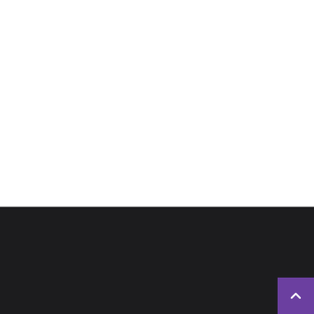[Figure (other): White blank area occupying the upper portion of the page]
BEHIND THE THRILLS
Since 2008, Behind The Thrills has been filled with the latest news and exciting stories in the theme park industry.